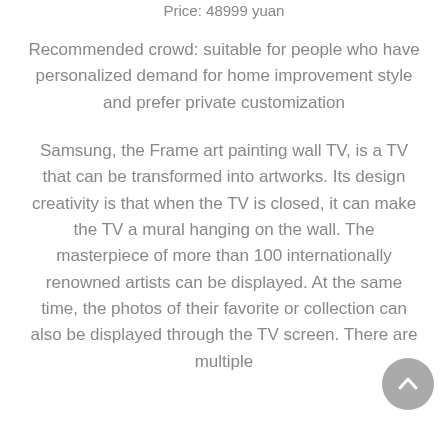Price: 48999 yuan
Recommended crowd: suitable for people who have personalized demand for home improvement style and prefer private customization
Samsung, the Frame art painting wall TV, is a TV that can be transformed into artworks. Its design creativity is that when the TV is closed, it can make the TV a mural hanging on the wall. The masterpiece of more than 100 internationally renowned artists can be displayed. At the same time, the photos of their favorite or collection can also be displayed through the TV screen. There are multiple